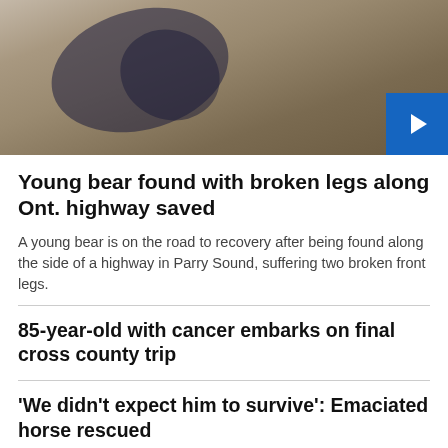[Figure (photo): A young bear lying in hay/straw, with a blue play button overlay in the bottom right corner]
Young bear found with broken legs along Ont. highway saved
A young bear is on the road to recovery after being found along the side of a highway in Parry Sound, suffering two broken front legs.
85-year-old with cancer embarks on final cross county trip
'We didn't expect him to survive': Emaciated horse rescued
Affordable housing in Ont. made from shipping containers
Young suspects charged after Ont. childcare